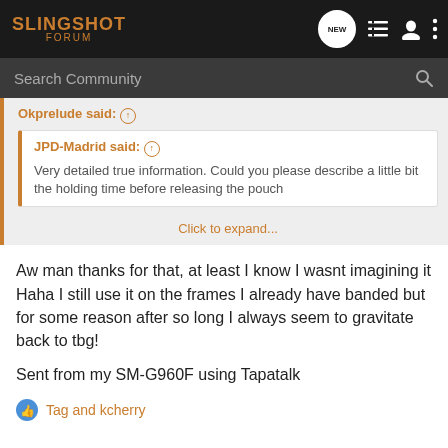SLINGSHOT FORUM
Search Community
Okprelude said: ↑
JPD-Madrid said: ↑
Very detailed true information. Could you please describe a little bit the holding time before releasing the pouch
Click to expand...
Aw man thanks for that, at least I know I wasnt imagining it Haha I still use it on the frames I already have banded but for some reason after so long I always seem to gravitate back to tbg!
Sent from my SM-G960F using Tapatalk
Tag and kcherry